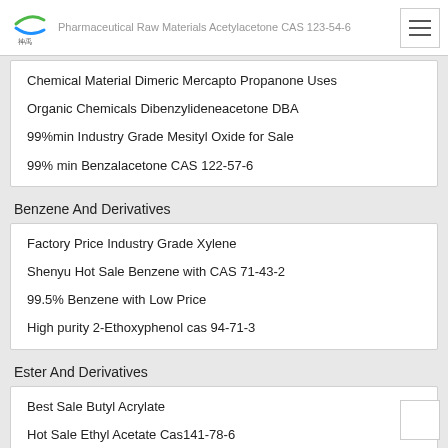Pharmaceutical Raw Materials Acetylacetone CAS 123-54-6
Chemical Material Dimeric Mercapto Propanone Uses
Organic Chemicals Dibenzylideneacetone DBA
99%min Industry Grade Mesityl Oxide for Sale
99% min Benzalacetone CAS 122-57-6
Benzene And Derivatives
Factory Price Industry Grade Xylene
Shenyu Hot Sale Benzene with CAS 71-43-2
99.5% Benzene with Low Price
High purity 2-Ethoxyphenol cas 94-71-3
Ester And Derivatives
Best Sale Butyl Acrylate
Hot Sale Ethyl Acetate Cas141-78-6